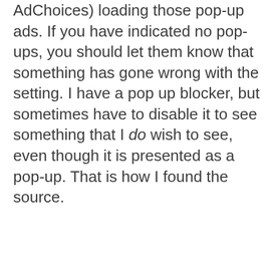AdChoices) loading those pop-up ads. If you have indicated no pop-ups, you should let them know that something has gone wrong with the setting. I have a pop up blocker, but sometimes have to disable it to see something that I do wish to see, even though it is presented as a pop-up. That is how I found the source.
Reply
Yvonne says: